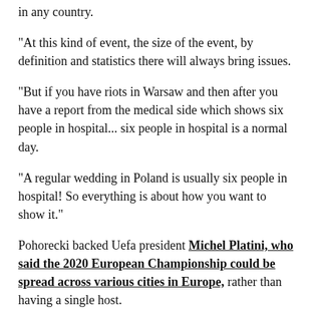in any country.
"At this kind of event, the size of the event, by definition and statistics there will always bring issues.
"But if you have riots in Warsaw and then after you have a report from the medical side which shows six people in hospital... six people in hospital is a normal day.
"A regular wedding in Poland is usually six people in hospital! So everything is about how you want to show it."
Pohorecki backed Uefa president Michel Platini, who said the 2020 European Championship could be spread across various cities in Europe, rather than having a single host.
"Why not? Is it a crazy idea? We will see," he said.
"Never say anything is impossible because everything is